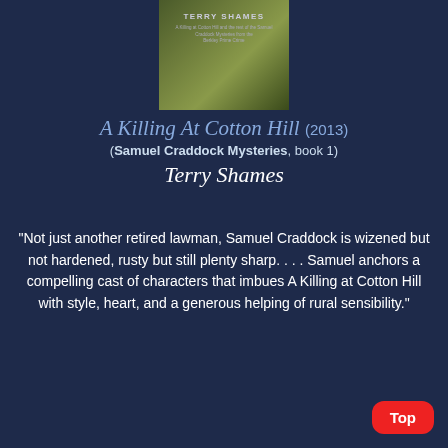[Figure (illustration): Book cover for 'A Killing At Cotton Hill' by Terry Shames — dark greenish cover with author name at top]
A Killing At Cotton Hill (2013)
(Samuel Craddock Mysteries, book 1)
Terry Shames
"Not just another retired lawman, Samuel Craddock is wizened but not hardened, rusty but still plenty sharp. . . . Samuel anchors a compelling cast of characters that imbues A Killing at Cotton Hill with style, heart, and a generous helping of rural sensibility."
[Figure (illustration): Book cover for 'Fiona's Flame' by Rachael Herron — teal/cyan cover with bold title text in orange]
Top